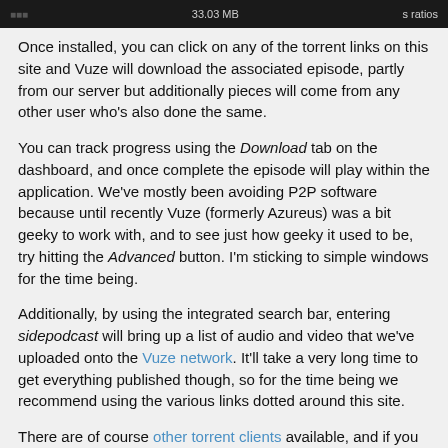[Figure (screenshot): Dark screenshot bar showing '33.03 MB' and 's ratios' text on a dark background]
Once installed, you can click on any of the torrent links on this site and Vuze will download the associated episode, partly from our server but additionally pieces will come from any other user who's also done the same.
You can track progress using the Download tab on the dashboard, and once complete the episode will play within the application. We've mostly been avoiding P2P software because until recently Vuze (formerly Azureus) was a bit geeky to work with, and to see just how geeky it used to be, try hitting the Advanced button. I'm sticking to simple windows for the time being.
Additionally, by using the integrated search bar, entering sidepodcast will bring up a list of audio and video that we've uploaded onto the Vuze network. It'll take a very long time to get everything published though, so for the time being we recommend using the various links dotted around this site.
There are of course other torrent clients available, and if you know of any good ones please do let us know. Also if you use Vuze, tell us what you think of it and feel free to add us as a friend by looking up sidepodcast.